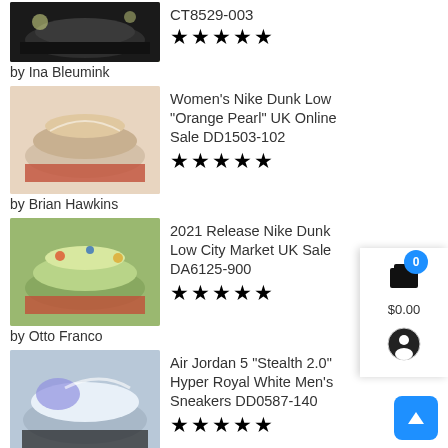[Figure (photo): Partial top of a dark sneaker product image (cropped)]
CT8529-003
[Figure (other): Five star rating]
by Ina Bleumink
[Figure (photo): Women's Nike Dunk Low Orange Pearl sneaker product image]
Women's Nike Dunk Low "Orange Pearl" UK Online Sale DD1503-102
[Figure (other): Five star rating]
by Brian Hawkins
[Figure (photo): 2021 Release Nike Dunk Low City Market sneaker product image]
2021 Release Nike Dunk Low City Market UK Sale DA6125-900
[Figure (other): Five star rating]
by Otto Franco
[Figure (photo): Air Jordan 5 Stealth 2.0 Hyper Royal White Men's Sneakers product image]
Air Jordan 5 "Stealth 2.0" Hyper Royal White Men's Sneakers DD0587-140
[Figure (other): Five star rating]
by Rebecca Edwards
[Figure (photo): Air Jordan 5 Stealth 2.0 Hyper Royal White Men's Sneakers product image (second)]
Air Jordan 5 "Stealth 2.0" Hyper Royal White Men's Sneakers DD0587-140
[Figure (other): Five star rating]
by Yarielis Santiago